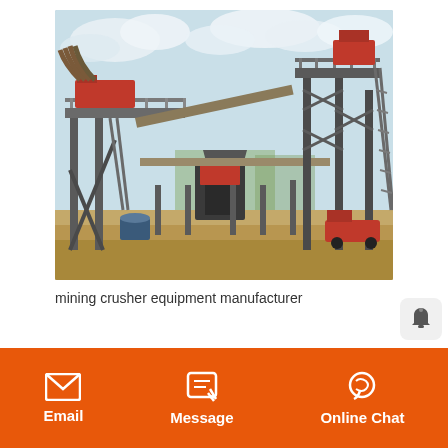[Figure (photo): Outdoor industrial mining crusher equipment facility with large conveyors, elevated platforms, support structures, and red-accented machinery under a partly cloudy sky.]
mining crusher equipment manufacturer
Email   Message   Online Chat